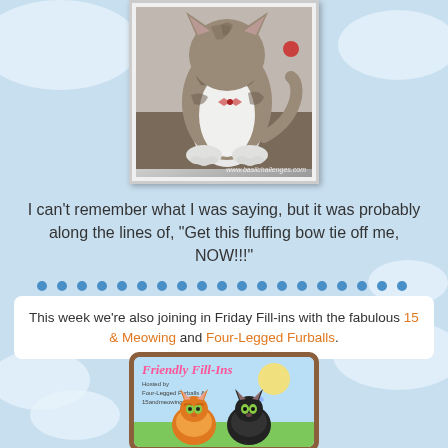[Figure (photo): Photo of a cat (tabby/white) seen from behind, sitting on a surface, with watermark www.basilchallenges.com]
I can't remember what I was saying, but it was probably along the lines of, "Get this fluffing bow tie off me, NOW!!!"
[Figure (infographic): Dotted divider line in blue]
This week we're also joining in Friday Fill-ins with the fabulous 15 & Meowing and Four-Legged Furballs.
[Figure (illustration): Friendly Fill-Ins badge hosted by Four-Legged Furballs & 15andmeowing, showing cartoon cats]